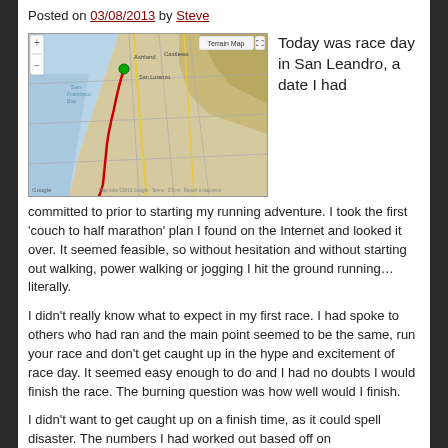Posted on 03/08/2013 by Steve
[Figure (map): Google Map showing a running route along the San Francisco Bay/San Leandro coastline, with a red path traced along the water's edge and a green dot marking the starting point.]
Today was race day in San Leandro, a date I had
committed to prior to starting my running adventure. I took the first 'couch to half marathon' plan I found on the Internet and looked it over. It seemed feasible, so without hesitation and without starting out walking, power walking or jogging I hit the ground running…literally.
I didn't really know what to expect in my first race. I had spoke to others who had ran and the main point seemed to be the same, run your race and don't get caught up in the hype and excitement of race day. It seemed easy enough to do and I had no doubts I would finish the race. The burning question was how well would I finish.
I didn't want to get caught up on a finish time, as it could spell disaster. The numbers I had worked out based off on